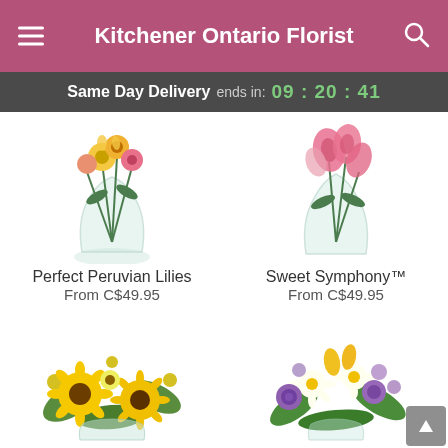Kitchener Ontario Florist
Same Day Delivery ends in: 09:20:41
[Figure (photo): Perfect Peruvian Lilies flower arrangement in round glass vase with yellow and pink alstroemeria]
Perfect Peruvian Lilies
From C$49.95
[Figure (photo): Sweet Symphony flower arrangement in round glass vase with pink flowers]
Sweet Symphony™
From C$49.95
[Figure (photo): Yellow sunflower and daisy bouquet arrangement]
[Figure (photo): Mixed bouquet with purple roses, white daisies, yellow tulips and purple flowers]